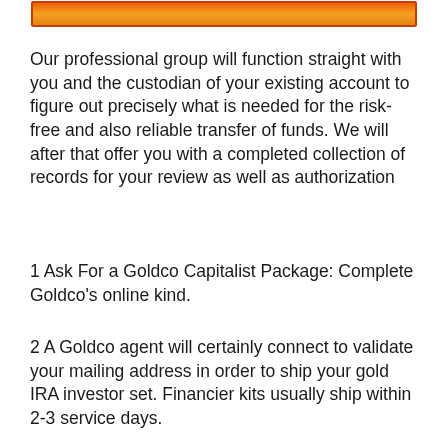[Figure (other): Orange-to-yellow gradient banner bar at top of page]
Our professional group will function straight with you and the custodian of your existing account to figure out precisely what is needed for the risk-free and also reliable transfer of funds. We will after that offer you with a completed collection of records for your review as well as authorization
1 Ask For a Goldco Capitalist Package: Complete Goldco’s online kind.
2 A Goldco agent will certainly connect to validate your mailing address in order to ship your gold IRA investor set. Financier kits usually ship within 2-3 service days.